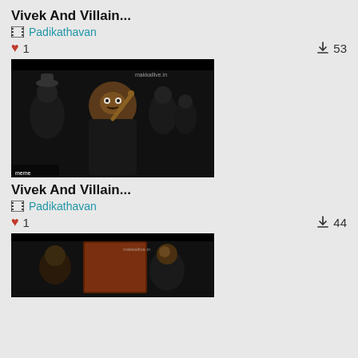Vivek And Villain...
Padikathavan
♥ 1   ⬇ 53
[Figure (photo): Movie scene showing a man in black jacket pointing a finger upward surrounded by other people in black in an indoor setting]
Vivek And Villain...
Padikathavan
♥ 1   ⬇ 44
[Figure (photo): Movie scene showing two people in an ornate indoor setting, one facing away and one in a suit]